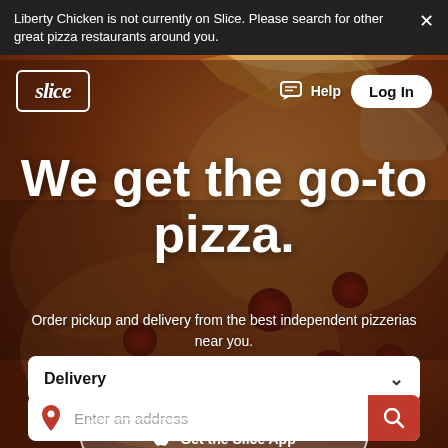Liberty Chicken is not currently on Slice. Please search for other great pizza restaurants around you.
[Figure (screenshot): Slice app website homepage with pepperoni pizza background photo, navigation bar with Slice logo, Help and Log In buttons]
We get the go-to pizza.
Order pickup and delivery from the best independent pizzerias near you.
Delivery
Enter an address
Get the Slice App